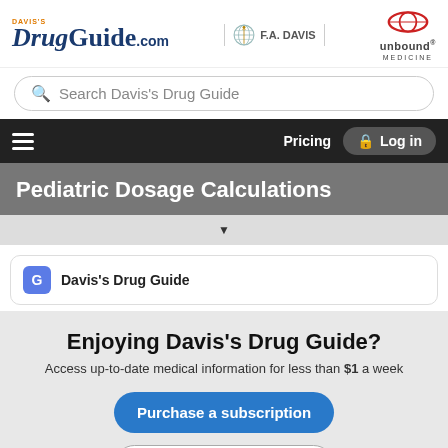[Figure (logo): Davis's Drug Guide .com logo with F.A. Davis and Unbound Medicine logos in website header]
[Figure (screenshot): Search bar reading 'Search Davis's Drug Guide']
[Figure (screenshot): Navigation bar with hamburger menu, Pricing link, and Log in button]
Pediatric Dosage Calculations
[Figure (screenshot): Dropdown arrow indicator bar]
Davis's Drug Guide
Enjoying Davis’s Drug Guide?
Access up-to-date medical information for less than $1 a week
Purchase a subscription
I’m already a subscriber